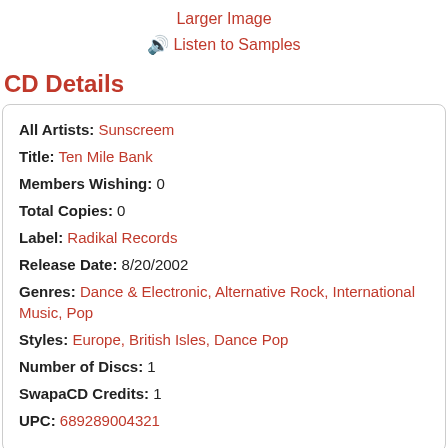Larger Image
Listen to Samples
CD Details
| All Artists: | Sunscreem |
| Title: | Ten Mile Bank |
| Members Wishing: | 0 |
| Total Copies: | 0 |
| Label: | Radikal Records |
| Release Date: | 8/20/2002 |
| Genres: | Dance & Electronic, Alternative Rock, International Music, Pop |
| Styles: | Europe, British Isles, Dance Pop |
| Number of Discs: | 1 |
| SwapaCD Credits: | 1 |
| UPC: | 689289004321 |
Synopsis
Album Description
One of the first rave-pop groups with live-performance abilities as well. Th 4th album consists of a seamless blend of tracks, unreleased over the pa three years, backed with remixes. 12 tracks in all. 2001.